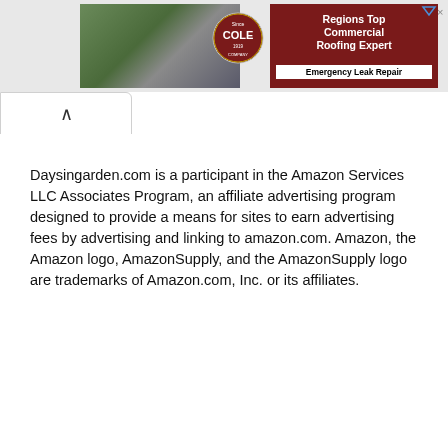[Figure (screenshot): Advertisement banner for Cole Roofing Company showing aerial photo of commercial building, company logo, and text 'Regions Top Commercial Roofing Expert' and 'Emergency Leak Repair' on dark red background]
Daysingarden.com is a participant in the Amazon Services LLC Associates Program, an affiliate advertising program designed to provide a means for sites to earn advertising fees by advertising and linking to amazon.com. Amazon, the Amazon logo, AmazonSupply, and the AmazonSupply logo are trademarks of Amazon.com, Inc. or its affiliates.